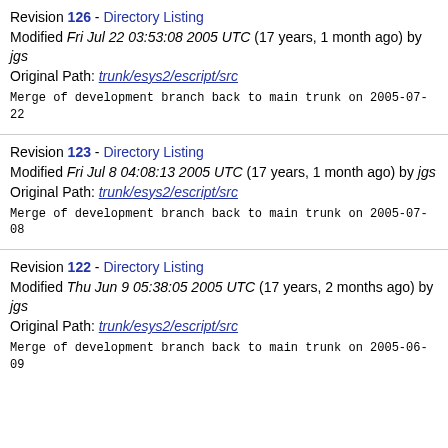Revision 126 - Directory Listing
Modified Fri Jul 22 03:53:08 2005 UTC (17 years, 1 month ago) by jgs
Original Path: trunk/esys2/escript/src
Merge of development branch back to main trunk on 2005-07-22
Revision 123 - Directory Listing
Modified Fri Jul 8 04:08:13 2005 UTC (17 years, 1 month ago) by jgs
Original Path: trunk/esys2/escript/src
Merge of development branch back to main trunk on 2005-07-08
Revision 122 - Directory Listing
Modified Thu Jun 9 05:38:05 2005 UTC (17 years, 2 months ago) by jgs
Original Path: trunk/esys2/escript/src
Merge of development branch back to main trunk on 2005-06-09